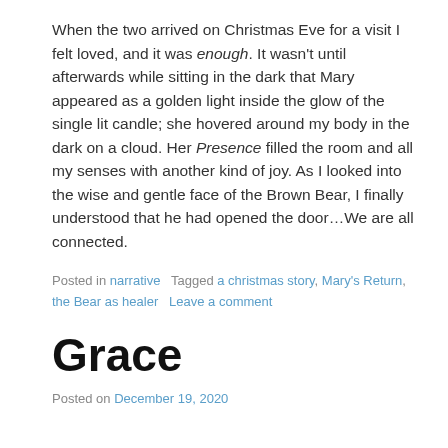When the two arrived on Christmas Eve for a visit I felt loved, and it was enough. It wasn't until afterwards while sitting in the dark that Mary appeared as a golden light inside the glow of the single lit candle; she hovered around my body in the dark on a cloud. Her Presence filled the room and all my senses with another kind of joy. As I looked into the wise and gentle face of the Brown Bear, I finally understood that he had opened the door...We are all connected.
Posted in narrative   Tagged a christmas story, Mary's Return, the Bear as healer   Leave a comment
Grace
Posted on December 19, 2020